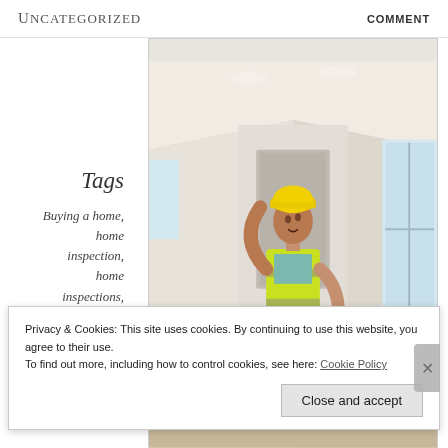Uncategorized   COMMENT
Tags
Buying a home,
home inspection,
home inspections,
home repairs,
homes for sale in Jacksonville FL, Jacksonville
[Figure (photo): A construction worker or home inspector wearing a yellow hard hat and hi-vis vest, holding a clipboard, looking up at the ceiling inside an empty home interior.]
Privacy & Cookies: This site uses cookies. By continuing to use this website, you agree to their use.
To find out more, including how to control cookies, see here: Cookie Policy
Close and accept